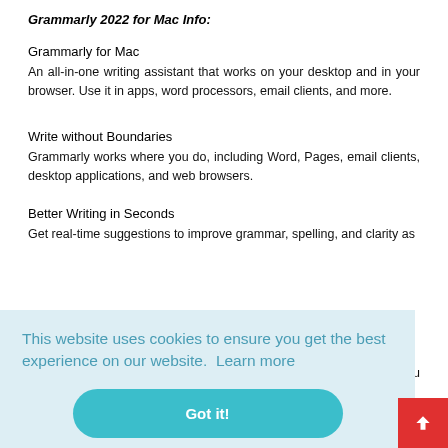Grammarly 2022 for Mac Info:
Grammarly for Mac
An all-in-one writing assistant that works on your desktop and in your browser. Use it in apps, word processors, email clients, and more.
Write without Boundaries
Grammarly works where you do, including Word, Pages, email clients, desktop applications, and web browsers.
Better Writing in Seconds
Get real-time suggestions to improve grammar, spelling, and clarity as
[Figure (screenshot): Cookie consent banner with light blue background. Text reads: 'This website uses cookies to ensure you get the best experience on our website. Learn more' followed by a teal 'Got it!' rounded button.]
here you
Prefer Grammarly doesn't see a particular piece of writing? Turn it on in